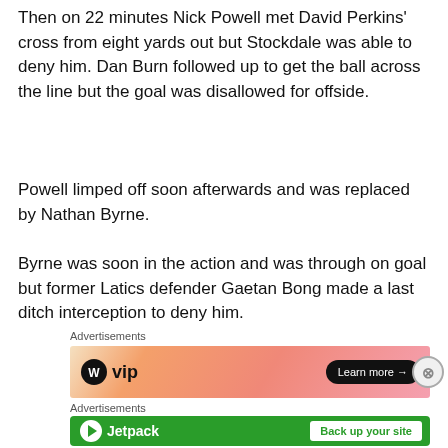Then on 22 minutes Nick Powell met David Perkins' cross from eight yards out but Stockdale was able to deny him. Dan Burn followed up to get the ball across the line but the goal was disallowed for offside.
Powell limped off soon afterwards and was replaced by Nathan Byrne.
Byrne was soon in the action and was through on goal but former Latics defender Gaetan Bong made a last ditch interception to deny him.
[Figure (screenshot): Advertisement banner for VIP with orange/pink gradient background and 'Learn more' button]
[Figure (screenshot): Advertisement banner for Jetpack with green background, Jetpack logo, and 'Back up your site' button]